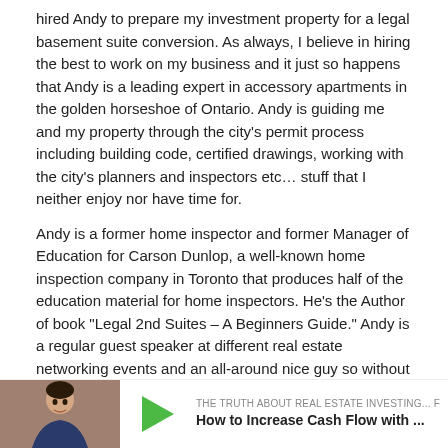hired Andy to prepare my investment property for a legal basement suite conversion. As always, I believe in hiring the best to work on my business and it just so happens that Andy is a leading expert in accessory apartments in the golden horseshoe of Ontario. Andy is guiding me and my property through the city's permit process including building code, certified drawings, working with the city's planners and inspectors etc… stuff that I neither enjoy nor have time for.
Andy is a former home inspector and former Manager of Education for Carson Dunlop, a well-known home inspection company in Toronto that produces half of the education material for home inspectors. He's the Author of book "Legal 2nd Suites – A Beginners Guide." Andy is a regular guest speaker at different real estate networking events and an all-around nice guy so without further do, I present to you Andy Tran.
Erwin's preferred cheap headphones with mic:
https://www.amazon.ca/dp/B00HVVONP4/ref=cfb_at_prodpg
Andy's website http://www.suiteadditions.com/#home-section
You can download Andy's book here: http://www.suiteadditions.com/start-here/
And contact Andy here: http://www.suiteadditions.com/contact/
[Figure (other): Bottom bar showing a photo of a man, a green play button triangle, and text reading 'THE TRUTH ABOUT REAL ESTATE INVESTING... F' and 'How to Increase Cash Flow with ...']